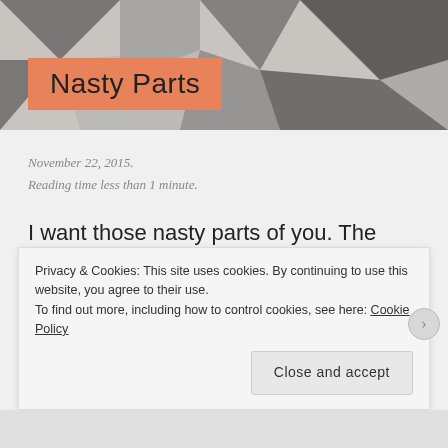[Figure (photo): Abstract black and white mosaic/tile pattern photo used as hero image background]
Nasty Parts
November 22, 2015.
Reading time less than 1 minute.
I want those nasty parts of you. The dark, messy, broken pieces scattered somewhere between your reality and memory.
I want to hold them and see where our reflections are shared. Find the spots where
Privacy & Cookies: This site uses cookies. By continuing to use this website, you agree to their use.
To find out more, including how to control cookies, see here: Cookie Policy
Close and accept